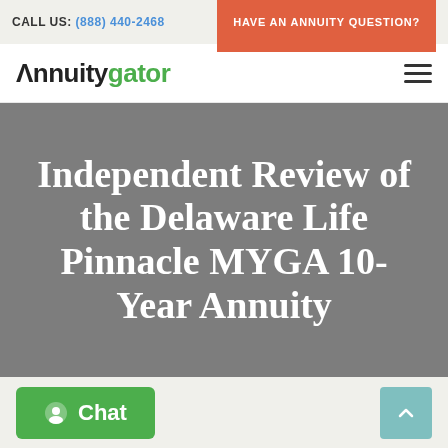CALL US: (888) 440-2468 | HAVE AN ANNUITY QUESTION?
Annuitygator
Independent Review of the Delaware Life Pinnacle MYGA 10-Year Annuity
Chat
Scroll to top